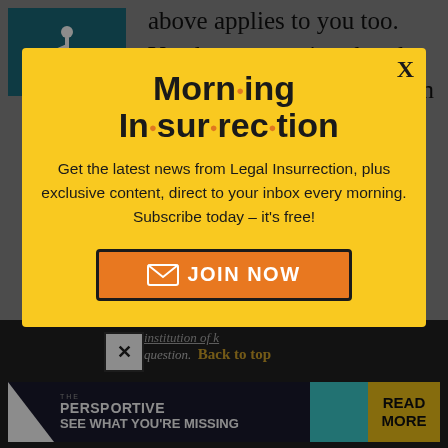[Figure (illustration): Wheelchair accessibility icon, white on teal background]
above applies to you too. You keep repeating that the creation and implementation of immigration law is
[Figure (screenshot): Modal popup with yellow background: Morning Insurrection newsletter signup. Title: 'Morning Insurrection' with orange dots. Text: 'Get the latest news from Legal Insurrection, plus exclusive content, direct to your inbox every morning. Subscribe today - it's free!' with a JOIN NOW button.]
institution of question.
Back to top
[Figure (advertisement): The Perspective advertisement banner: 'SEE WHAT YOU'RE MISSING' with READ MORE button on yellow background]